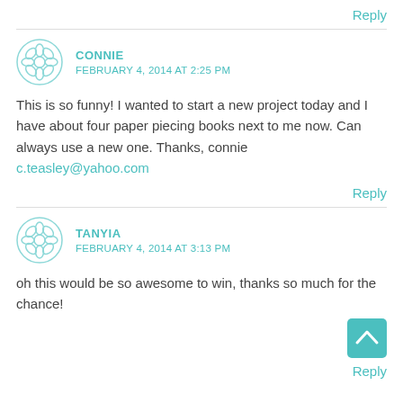Reply
CONNIE
FEBRUARY 4, 2014 AT 2:25 PM
This is so funny! I wanted to start a new project today and I have about four paper piecing books next to me now. Can always use a new one. Thanks, connie
c.teasley@yahoo.com
Reply
TANYIA
FEBRUARY 4, 2014 AT 3:13 PM
oh this would be so awesome to win, thanks so much for the chance!
Reply